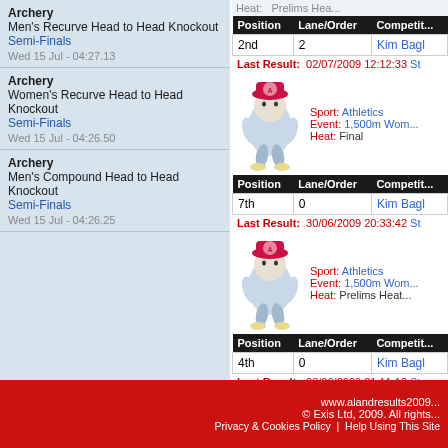Archery
Men's Recurve Head to Head Knockout Semi-Finals
Wed 15 Jul - 04:27.13
Archery
Women's Recurve Head to Head Knockout Semi-Finals
Wed 15 Jul - 04:26.50
Archery
Men's Compound Head to Head Knockout Semi-Finals
Wed 15 Jul - 04:26.25
| Position | Lane/Order | Competitor |
| --- | --- | --- |
| 2nd | 2 | Kim Bagl |
Last Result:  02/07/2009 12:12:33 St
[Figure (illustration): Mascot character wearing a hat with sport logo]
Sport: Athletics
Event: 1,500m Wom...
Heat: Final
| Position | Lane/Order | Competitor |
| --- | --- | --- |
| 7th | 0 | Kim Bagl |
Last Result:  30/06/2009 20:33:42 St
[Figure (illustration): Mascot character wearing a hat with sport logo]
Sport: Athletics
Event: 1,500m Wom...
Heat: Prelims Heat
| Position | Lane/Order | Competitor |
| --- | --- | --- |
| 4th | 0 | Kim Bagl |
Last Result:  28/06/2009 21:11:13 St
www.alandresults2009...
© Exis Ltd, 2009. All rights...
Privacy & Cookies Policy  |  Help Using This Site